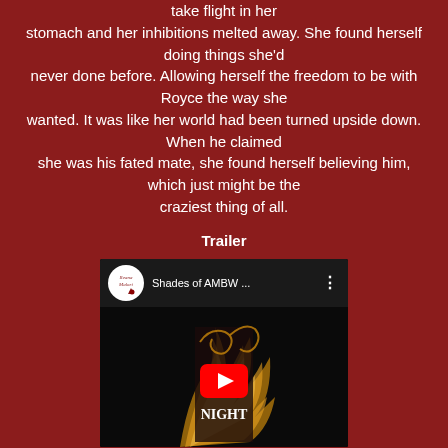take flight in her stomach and her inhibitions melted away. She found herself doing things she'd never done before. Allowing herself the freedom to be with Royce the way she wanted. It was like her world had been turned upside down. When he claimed she was his fated mate, she found herself believing him, which just might be the craziest thing of all.
Trailer
[Figure (screenshot): YouTube video embed showing 'Shades of AMBW ...' with channel icon (Reana Malori), a dark thumbnail with book cover showing 'RED NIGHT' with flames, and a red play button in the center.]